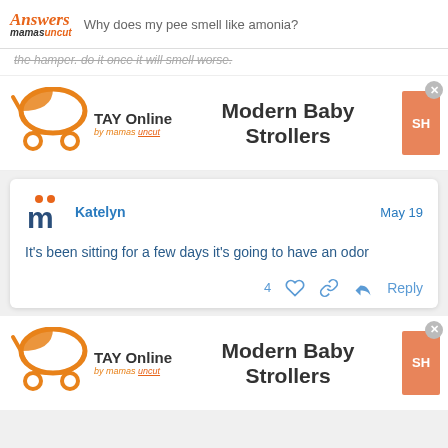Answers mamasuncut — Why does my pee smell like amonia?
the hamper. do it once it will smell worse.
[Figure (logo): TAY Online by mamas ad banner with stroller logo and Modern Baby Strollers text]
Katelyn   May 19
It's been sitting for a few days it's going to have an odor
4  ♡  🔗  ↩ Reply
[Figure (logo): TAY Online by mamas ad banner with stroller logo and Modern Baby Strollers text (second instance)]